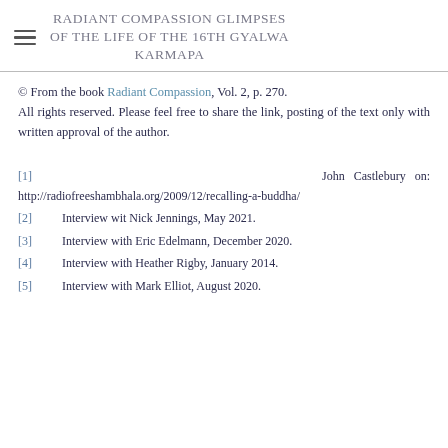RADIANT COMPASSION GLIMPSES OF THE LIFE OF THE 16TH GYALWA KARMAPA
© From the book Radiant Compassion, Vol. 2, p. 270. All rights reserved. Please feel free to share the link, posting of the text only with written approval of the author.
[1]   John Castlebury on: http://radiofreeshambhala.org/2009/12/recalling-a-buddha/
[2]   Interview wit Nick Jennings, May 2021.
[3]   Interview with Eric Edelmann, December 2020.
[4]   Interview with Heather Rigby, January 2014.
[5]   Interview with Mark Elliot, August 2020.